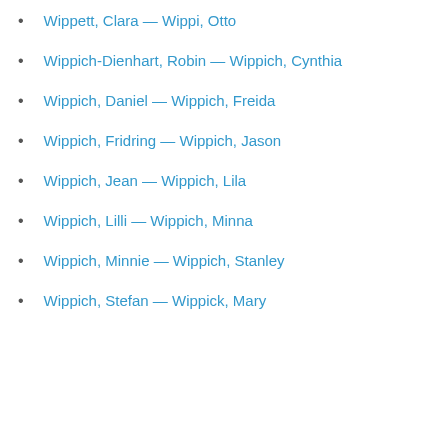Wippett, Clara — Wippi, Otto
Wippich-Dienhart, Robin — Wippich, Cynthia
Wippich, Daniel — Wippich, Freida
Wippich, Fridring — Wippich, Jason
Wippich, Jean — Wippich, Lila
Wippich, Lilli — Wippich, Minna
Wippich, Minnie — Wippich, Stanley
Wippich, Stefan — Wippick, Mary